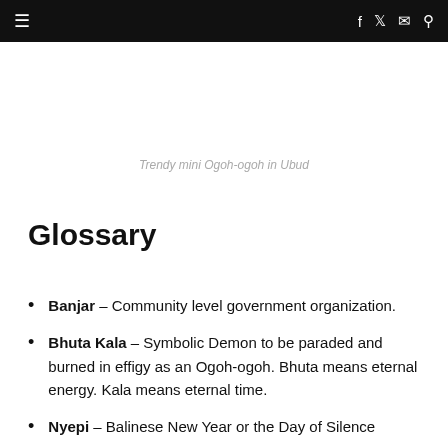≡  f  🐦  ✉  🔍
Trendy mini Ogoh-ogoh in Ubud
Glossary
Banjar – Community level government organization.
Bhuta Kala – Symbolic Demon to be paraded and burned in effigy as an Ogoh-ogoh. Bhuta means eternal energy. Kala means eternal time.
Nyepi – Balinese New Year or the Day of Silence